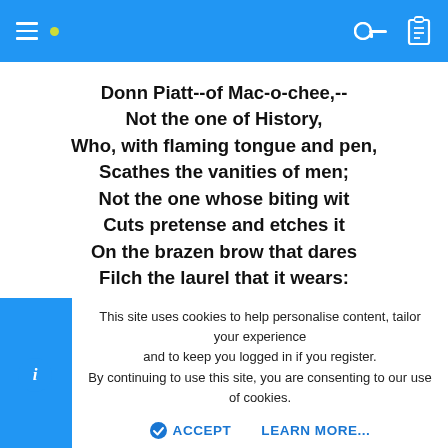Navigation bar with hamburger menu, yellow dot icon, key icon, and clipboard icon
Donn Piatt--of Mac-o-chee,--
Not the one of History,
Who, with flaming tongue and pen,
Scathes the vanities of men;
Not the one whose biting wit
Cuts pretense and etches it
On the brazen brow that dares
Filch the laurel that it wears:
Not the Donn Piatt whose praise
Echoes in the noisy ways
Of the faction, onward led
By the statesman!--But, instead,
This site uses cookies to help personalise content, tailor your experience and to keep you logged in if you register.
By continuing to use this site, you are consenting to our use of cookies.
ACCEPT     LEARN MORE...